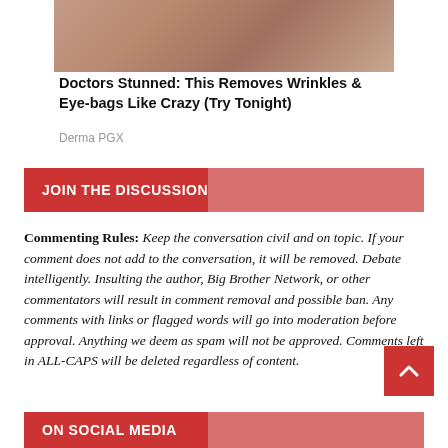[Figure (photo): Advertisement photo showing a close-up of skin, part of a Derma PGX ad]
Doctors Stunned: This Removes Wrinkles & Eye-bags Like Crazy (Try Tonight)
Derma PGX
JOIN THE DISCUSSION
Commenting Rules: Keep the conversation civil and on topic. If your comment does not add to the conversation, it will be removed. Debate intelligently. Insulting the author, Big Brother Network, or other commentators will result in comment removal and possible ban. Any comments with links or flagged words will go into moderation before approval. Anything we deem as spam will not be approved. Comments left in ALL-CAPS will be deleted regardless of content.
ON SOCIAL MEDIA